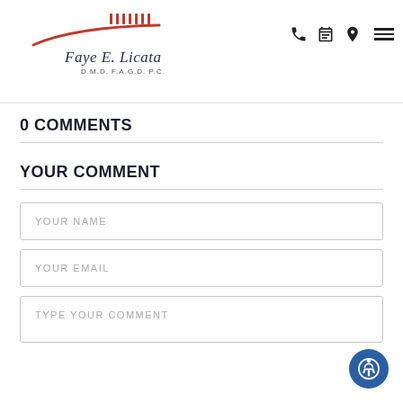Faye E. Licata D.M.D. F.A.G.D. P.C.
0 COMMENTS
YOUR COMMENT
YOUR NAME
YOUR EMAIL
TYPE YOUR COMMENT